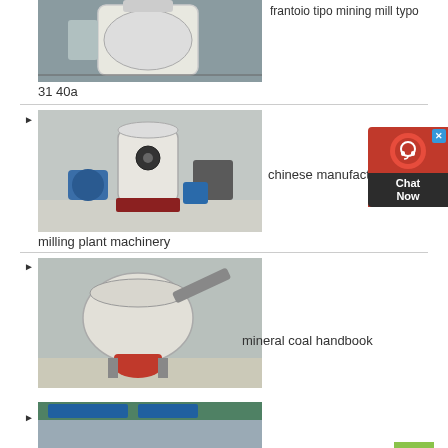[Figure (photo): Industrial mining mill machine, white cylindrical grinder with pipes and metal frame, indoor factory setting]
frantoio tipo mining mill typo
31 40a
[Figure (photo): Chinese milling plant machinery in factory, large white cylindrical mill with blue motors and equipment]
chinese manufacturers of
milling plant machinery
[Figure (photo): Cone crusher mining machine with red wheel base in an industrial factory setting]
mineral coal handbook
[Figure (photo): Mining machinery in factory with Chinese signage overhead]
[Figure (other): Chat Now customer support widget with red background and close button]
[Figure (other): Back to top green button with upward arrow]